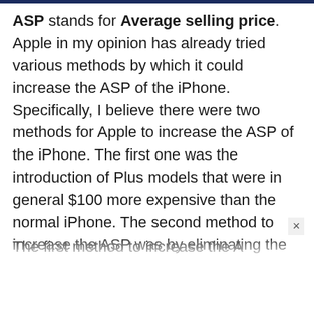ASP stands for Average selling price. Apple in my opinion has already tried various methods by which it could increase the ASP of the iPhone. Specifically, I believe there were two methods for Apple to increase the ASP of the iPhone. The first one was the introduction of Plus models that were in general $100 more expensive than the normal iPhone. The second method to increase the ASP was by eliminating the 32GB variant of iPhone and making 16GB its base variant.
The first...